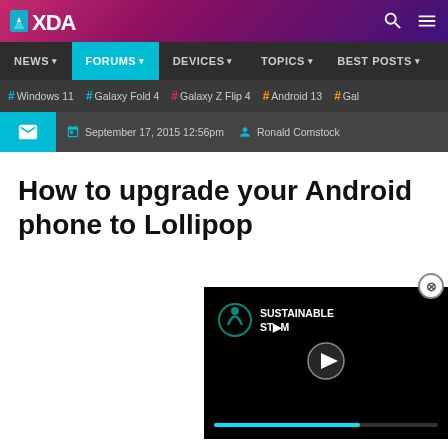XDA Developers - header with logo, search and menu icons
NEWS | FORUMS | DEVICES | TOPICS | BEST POSTS
# Windows 11  # Galaxy Fold 4  # Galaxy Z Flip 4  # Android 13  # Gal
September 17, 2015 12:56pm   Ronald Comstock
How to upgrade your Android phone to Lollipop
[Figure (screenshot): Embedded video player showing Sustainable Stream branding with play button and progress bar]